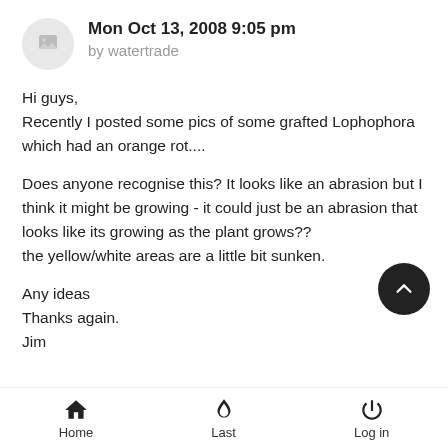Mon Oct 13, 2008 9:05 pm by watertrade
Hi guys,
Recently I posted some pics of some grafted Lophophora which had an orange rot....
Does anyone recognise this? It looks like an abrasion but I think it might be growing - it could just be an abrasion that looks like its growing as the plant grows??
the yellow/white areas are a little bit sunken.
Any ideas
Thanks again.
Jim
Home  Last  Log in